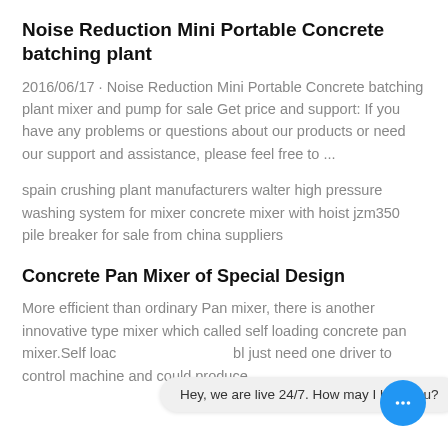Noise Reduction Mini Portable Concrete batching plant
2016/06/17 · Noise Reduction Mini Portable Concrete batching plant mixer and pump for sale Get price and support: If you have any problems or questions about our products or need our support and assistance, please feel free to ...
spain crushing plant manufacturers walter high pressure washing system for mixer concrete mixer with hoist jzm350 pile breaker for sale from china suppliers
Concrete Pan Mixer of Special Design
More efficient than ordinary Pan mixer, there is another innovative type mixer which called self loading concrete pan mixer.Self loac                                  bl just need one driver to control machine and could produce
Hey, we are live 24/7. How may I help you?